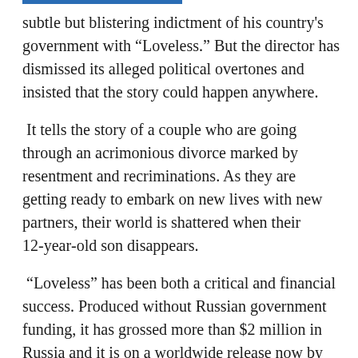subtle but blistering indictment of his country's government with “Loveless.” But the director has dismissed its alleged political overtones and insisted that the story could happen anywhere.
It tells the story of a couple who are going through an acrimonious divorce marked by resentment and recriminations. As they are getting ready to embark on new lives with new partners, their world is shattered when their 12-year-old son disappears.
“Loveless” has been both a critical and financial success. Produced without Russian government funding, it has grossed more than $2 million in Russia and it is on a worldwide release now by Sony Pictures.